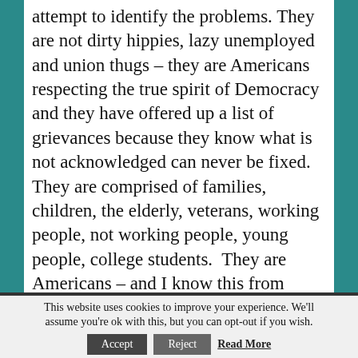attempt to identify the problems. They are not dirty hippies, lazy unemployed and union thugs – they are Americans respecting the true spirit of Democracy and they have offered up a list of grievances because they know what is not acknowledged can never be fixed. They are comprised of families, children, the elderly, veterans, working people, not working people, young people, college students. They are Americans – and I know this from having personally attended an “Occupy” event last weekend. Look, there are a lot of us just trying to survive day to day without the financial resources to “Occupy” anything. If you live near one of the demonstrations, go down there with food, bottled water, the offer of a shower for some of these folks. If
This website uses cookies to improve your experience. We'll assume you're ok with this, but you can opt-out if you wish.